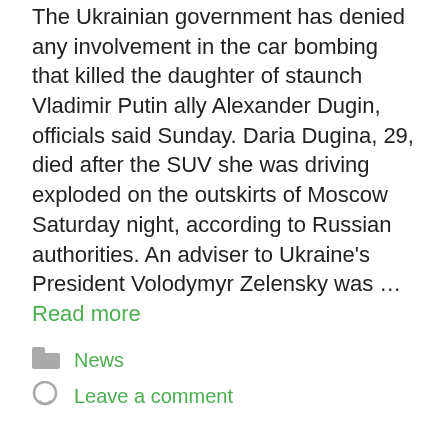The Ukrainian government has denied any involvement in the car bombing that killed the daughter of staunch Vladimir Putin ally Alexander Dugin, officials said Sunday. Daria Dugina, 29, died after the SUV she was driving exploded on the outskirts of Moscow Saturday night, according to Russian authorities. An adviser to Ukraine's President Volodymyr Zelensky was … Read more
News
Leave a comment
Brian Stelter says